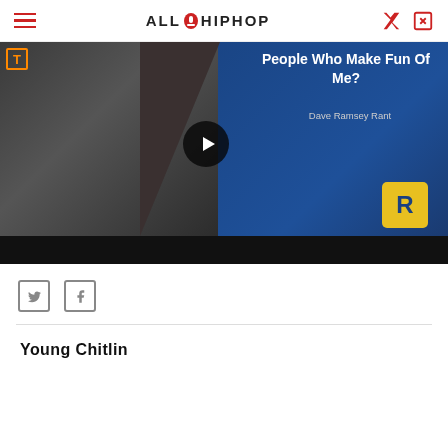AllHipHop
[Figure (screenshot): Video thumbnail of Dave Ramsey with play button. Text overlay reads 'People Who Make Fun Of Me?' and 'Dave Ramsey Rant' with Ramsey Solutions logo badge.]
Twitter and Facebook share icons
Young Chitlin